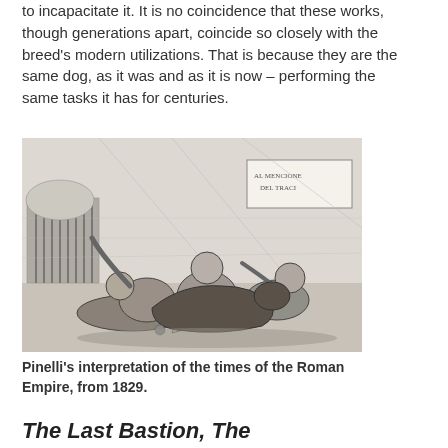to incapacitate it. It is no coincidence that these works, though generations apart, coincide so closely with the breed's modern utilizations. That is because they are the same dog, as it was and as it is now – performing the same tasks it has for centuries.
[Figure (illustration): A black and white engraving by Pinelli depicting a dramatic scene from the times of the Roman Empire. Several figures are shown in a struggle on the ground inside what appears to be an arena or colosseum setting. A sign on the wall reads 'AL MENCIONE DEL TRACI' or similar Latin text.]
Pinelli's interpretation of the times of the Roman Empire, from 1829.
The Last Bastion, The